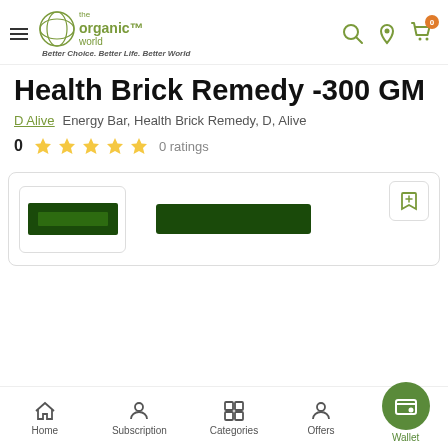The Organic World — Better Choice. Better Life. Better World
Health Brick Remedy -300 GM
D Alive   Energy Bar, Health Brick Remedy, D, Alive
0  ★★★★★  0 ratings
[Figure (screenshot): Product thumbnail showing Health Brick Remedy bar packaging in dark green]
Home  Subscription  Categories  Offers  Wallet